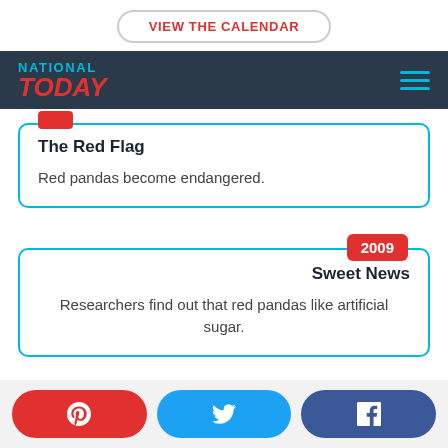VIEW THE CALENDAR
[Figure (logo): National Today logo with navigation bar on dark background]
The Red Flag
Red pandas become endangered.
Sweet News
Researchers find out that red pandas like artificial sugar.
Pinterest, Twitter, Facebook social share buttons